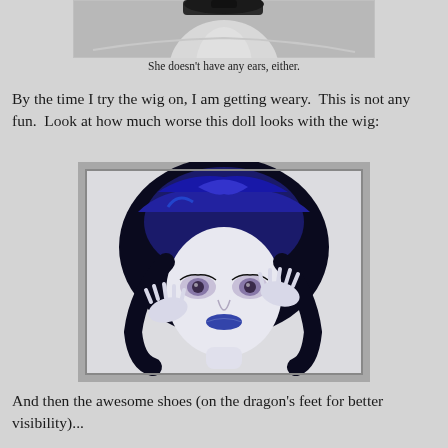[Figure (photo): Partial top view of a doll without ears, shown from the neck/shoulder area upward in grayscale]
She doesn't have any ears, either.
By the time I try the wig on, I am getting weary.  This is not any fun.  Look at how much worse this doll looks with the wig:
[Figure (photo): A Monster High doll with a blue-black wig, pale white skin, large detailed eyes with heavy lashes, blue lips, and hands raised near her face, photographed against a light background]
And then the awesome shoes (on the dragon's feet for better visibility)...